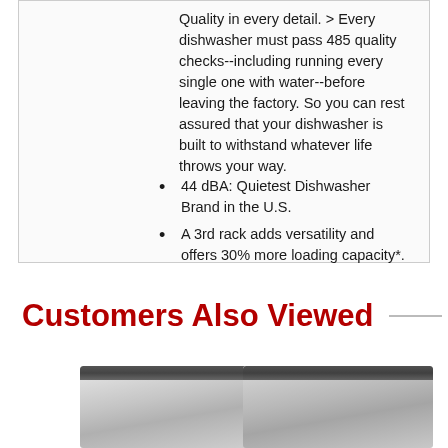Quality in every detail. > Every dishwasher must pass 485 quality checks--including running every single one with water--before leaving the factory. So you can rest assured that your dishwasher is built to withstand whatever life throws your way.
44 dBA: Quietest Dishwasher Brand in the U.S.
A 3rd rack adds versatility and offers 30% more loading capacity*. *Vs. Bosch Dishwashers with 2 racks
Customers Also Viewed
[Figure (photo): Two stainless steel dishwashers shown side by side at the bottom of the page, partially visible]